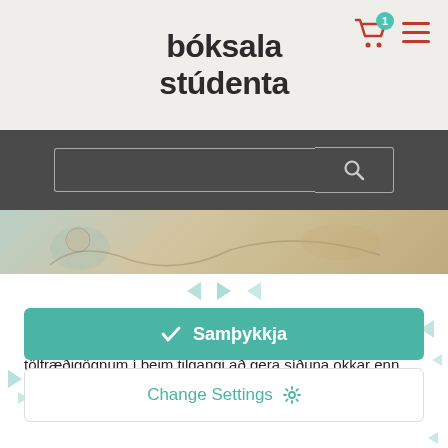[Figure (screenshot): Bóksala Stúdenta website header with logo, cart icon with badge '1', and hamburger menu icon]
[Figure (screenshot): Search bar with text input field and search button on dark grey background]
[Figure (photo): Partial hero image strip showing illustrated artwork]
Vafrakökur Vefurinn okkar notar fótspor (e. vafrakökur, cookies) fyrir nauðsynlega virkni og til að safna tölfræðigögnum í þeim tilgangi að gera síðuna okkar enn betri. Lesa meira →
[Figure (other): Accept cookies button: Samþykkja with checkmark]
[Figure (other): Change Settings button with gear icon]